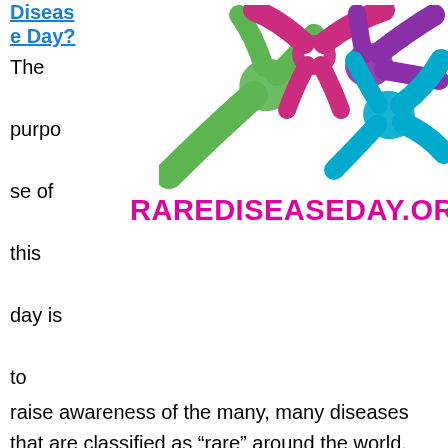Disease Day?
[Figure (logo): Rare Disease Day colorful logo with stylized figures in green, pink/red, purple, and blue colors arranged around a central white circle, with hands/arms extending outward]
RAREDISEASEDAY.ORG
The purpose of this day is to raise awareness of the many, many diseases that are classified as “rare” around the world. The hope is that by shining a light on these diseases, and to put a face on the people who struggle with the many rare conditions that are out there, there will be improvements in how these people are handled in the health care system, drug companies, funding agencies, and